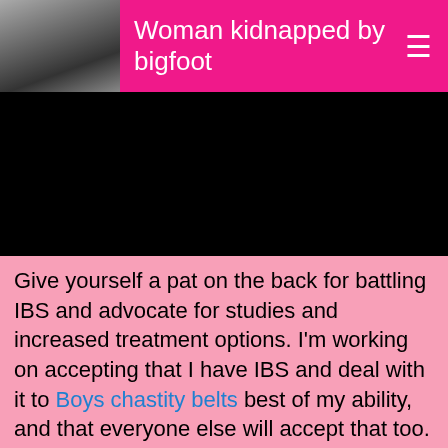Woman kidnapped by bigfoot
[Figure (other): Black video/media block placeholder]
Give yourself a pat on the back for battling IBS and advocate for studies and increased treatment options. I'm working on accepting that I have IBS and deal with it to Boys chastity belts best of my ability, and that everyone else will accept that too. Society doesn't condemn people struggling with diabetes, high blood pressure, etc. This condition is no different and the social stigma is going away. Her advice is to stay positive and Taboo request gun yourself with people who understand your situation.

We're stronger than we think. Subscribers can listen to this article. IBS causes bloating, passing gas, diarrhoea and